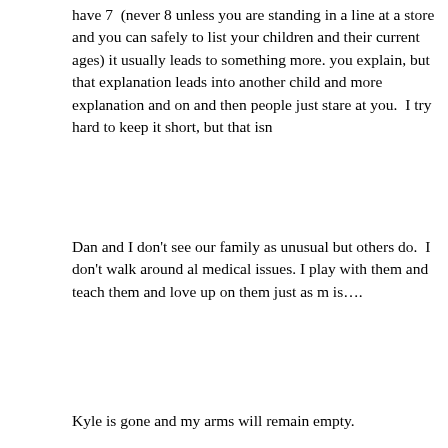have 7  (never 8 unless you are standing in a line at a store and you can safely to list your children and their current ages) it usually leads to something more. you explain, but that explanation leads into another child and more explanation and on and then people just stare at you.  I try hard to keep it short, but that isn
Dan and I don't see our family as unusual but others do.  I don't walk around al medical issues. I play with them and teach them and love up on them just as m is….
Kyle is gone and my arms will remain empty.
Codey has had so many shunt surgeries that they couldn't place the drainage t anymore.
Hope's ventricle is still gone and she has a major scar down the middle of her c
Gracie's lupus is not behaving as well as it should be and she's not very happy the usual summer activities – like play outdoors for hours on end.
Benjamin has very few, if any options.
Maisey will always have a hard time hearing and will have to deal with issues fr misshapen ears.
Every day I have the choice to wake up and see the condition or the child.  I ch the condition but the child. And I want to be honest. Some days are definitely h